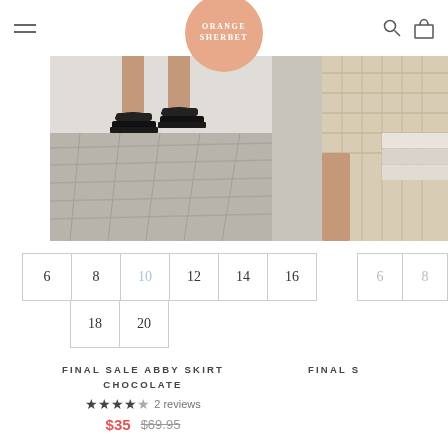Orange Sherbet logo, hamburger menu, search icon, cart icon
[Figure (photo): Lower body of a woman wearing a skirt and black strappy heeled sandals standing on a grey wooden deck. Partial second product photo visible on right side.]
6  8  10  12  14  16  18  20
FINAL SALE ABBY SKIRT CHOCOLATE
★★★★★ 2 reviews
$35  $69.95
FINAL S